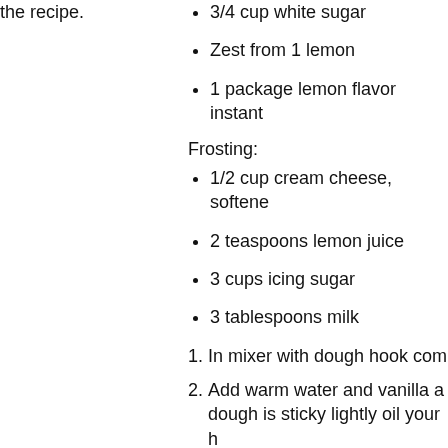the recipe.
3/4 cup white sugar
Zest from 1 lemon
1 package lemon flavor instant
Frosting:
1/2 cup cream cheese, softened
2 teaspoons lemon juice
3 cups icing sugar
3 tablespoons milk
In mixer with dough hook com…
Add warm water and vanilla a… dough is sticky lightly oil your h…
Cover bowl and let rise in a wa…
Divide dough in half. On a flou…
Brush with half of the butter.
In a small bowl combine white… well combined.
Sprinkle half of the sugar mixt… into 12 pieces. Place in one of…